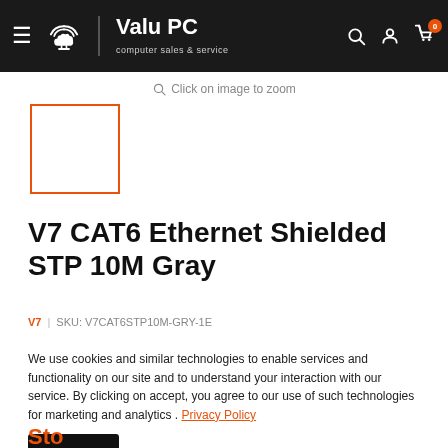Valu PC — computer sales & service — navigation bar
Click on image to zoom
[Figure (photo): Product thumbnail placeholder box with orange border]
V7 CAT6 Ethernet Shielded STP 10M Gray
V7 | SKU: V7CAT6STP10M-GRY-1E
We use cookies and similar technologies to enable services and functionality on our site and to understand your interaction with our service. By clicking on accept, you agree to our use of such technologies for marketing and analytics . Privacy Policy
Accept
Stock